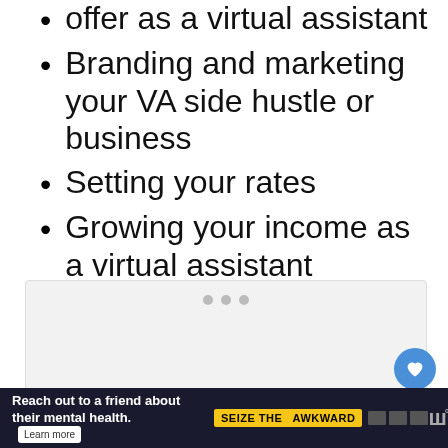offer as a virtual assistant
Branding and marketing your VA side hustle or business
Setting your rates
Growing your income as a virtual assistant
[Figure (other): Gray placeholder ad box with three dots at top center]
[Figure (other): Blue circular heart/favorite button icon]
[Figure (other): White circular share button icon]
[Figure (other): Bottom advertisement banner: Reach out to a friend about their mental health. Learn more. Seize the Awkward. WW logo.]